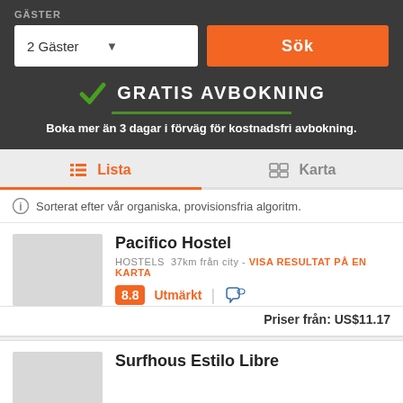GÄSTER
2 Gäster
Sök
GRATIS AVBOKNING
Boka mer än 3 dagar i förväg för kostnadsfri avbokning.
Lista
Karta
Sorterat efter vår organiska, provisionsfria algoritm.
Pacifico Hostel
HOSTELS  37km från city - VISA RESULTAT PÅ EN KARTA
8.8  Utmärkt
Priser från: US$11.17
Surfhous Estilo Libre